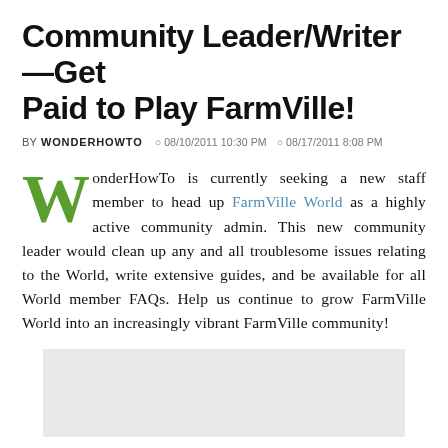Community Leader/Writer—Get Paid to Play FarmVille!
BY WONDERHOWTO  08/10/2011 10:30 PM  C 08/17/2011 8:08 PM
WonderHowTo is currently seeking a new staff member to head up FarmVille World as a highly active community admin. This new community leader would clean up any and all troublesome issues relating to the World, write extensive guides, and be available for all World member FAQs. Help us continue to grow FarmVille World into an increasingly vibrant FarmVille community!
[Figure (other): Gray placeholder image rectangle]
This potential admin should be capable of excelling at the following tasks: